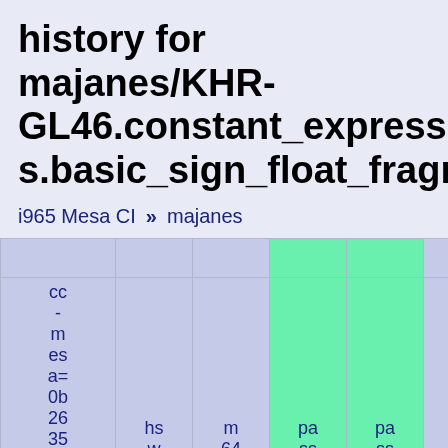history for majanes/KHR-GL46.constant_expressions.basic_sign_float_fragment:
i965 Mesa CI » majanes
| commit | runner | arch | pass | pass | time |
| --- | --- | --- | --- | --- | --- |
| cc-mesa=0b2635222f9-percheck | hsw | m64 | pass | pass | 0.011031 |